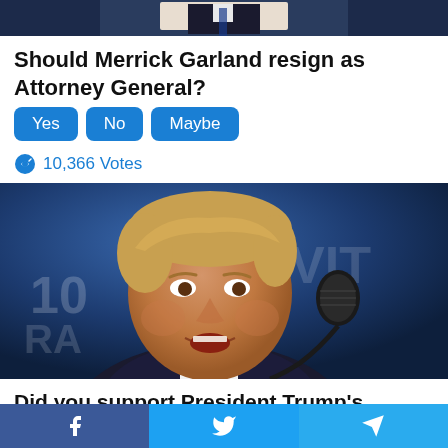[Figure (photo): Top portion of a photo of a man in a suit, cropped to show chest/shoulders area against dark background]
Should Merrick Garland resign as Attorney General?
Yes
No
Maybe
10,366 Votes
[Figure (photo): Photo of Donald Trump speaking into a microphone at a podium, mouth open, wearing a dark suit and red tie, against a blue background]
Did you support President Trump's efforts to
Facebook  Twitter  Telegram